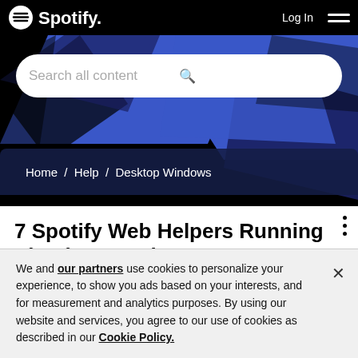[Figure (screenshot): Spotify website header with logo, Log In button, hamburger menu, blue decorative geometric background, search bar reading 'Search all content', and breadcrumb navigation showing Home / Help / Desktop Windows]
7 Spotify Web Helpers Running Simultaneously
We and our partners use cookies to personalize your experience, to show you ads based on your interests, and for measurement and analytics purposes. By using our website and services, you agree to our use of cookies as described in our Cookie Policy.